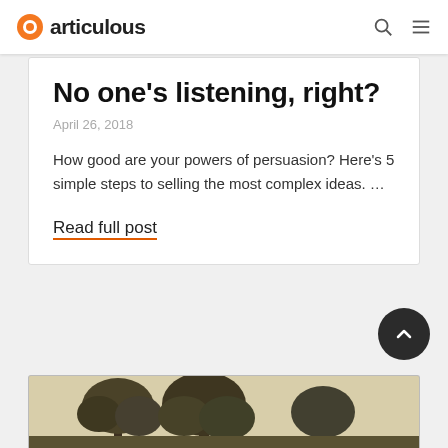articulous
No one’s listening, right?
April 26, 2018
How good are your powers of persuasion? Here’s 5 simple steps to selling the most complex ideas. …
Read full post
[Figure (photo): Partial view of trees with foliage at bottom of page, sepia/olive toned photograph]